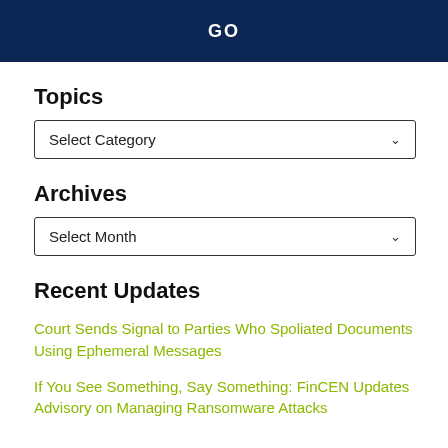GO
Topics
Select Category
Archives
Select Month
Recent Updates
Court Sends Signal to Parties Who Spoliated Documents Using Ephemeral Messages
If You See Something, Say Something: FinCEN Updates Advisory on Managing Ransomware Attacks